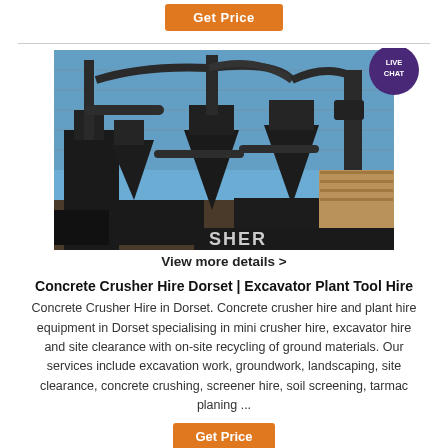[Figure (other): Orange 'Get Price' button at top of page]
[Figure (photo): Industrial concrete crusher / plant hire machinery with large pipes, cyclones, and grinding equipment outdoors against a blue sky with chain-link fence in background. Text 'SHER' visible at bottom right of image. Live Chat speech bubble overlay at top right.]
View more details >
Concrete Crusher Hire Dorset | Excavator Plant Tool Hire
Concrete Crusher Hire in Dorset. Concrete crusher hire and plant hire equipment in Dorset specialising in mini crusher hire, excavator hire and site clearance with on-site recycling of ground materials. Our services include excavation work, groundwork, landscaping, site clearance, concrete crushing, screener hire, soil screening, tarmac planing ...
[Figure (other): Orange 'Get Price' button at bottom of page (partially visible)]